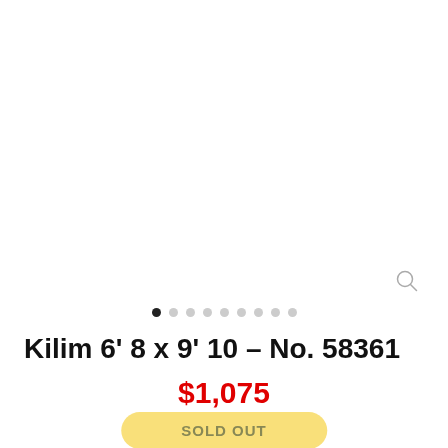[Figure (other): Product image area (white/blank image placeholder for rug)]
Kilim 6' 8 x 9' 10 – No. 58361
$1,075
SOLD OUT